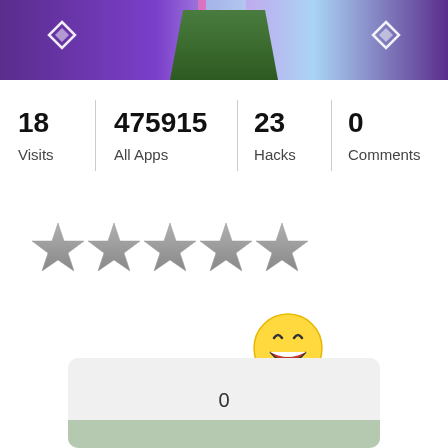[Figure (screenshot): App banner image showing a stylized green character/figure with purple background and diamond icons on left and right]
| Visits | All Apps | Hacks | Comments |
| --- | --- | --- | --- |
| 18 | 475915 | 23 | 0 |
[Figure (infographic): Five grey star rating icons in a row]
[Figure (infographic): Laughing/grinning emoji face icon]
[Figure (infographic): Rating box showing 0 with a green bar at the bottom]